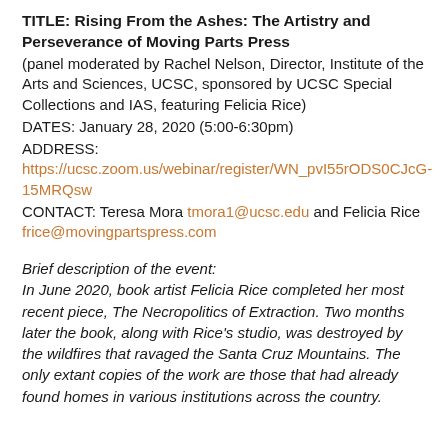TITLE: Rising From the Ashes: The Artistry and Perseverance of Moving Parts Press
(panel moderated by Rachel Nelson, Director, Institute of the Arts and Sciences, UCSC, sponsored by UCSC Special Collections and IAS, featuring Felicia Rice)
DATES: January 28, 2020 (5:00-6:30pm)
ADDRESS:
https://ucsc.zoom.us/webinar/register/WN_pvI55rODS0CJcG-15MRQsw
CONTACT: Teresa Mora tmora1@ucsc.edu and Felicia Rice frice@movingpartspress.com
Brief description of the event:
In June 2020, book artist Felicia Rice completed her most recent piece, The Necropolitics of Extraction. Two months later the book, along with Rice's studio, was destroyed by the wildfires that ravaged the Santa Cruz Mountains. The only extant copies of the work are those that had already found homes in various institutions across the country.